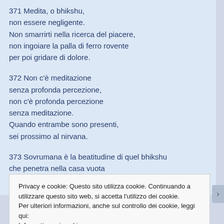371 Medita, o bhikshu,
non essere negligente.
Non smarrirti nella ricerca del piacere,
non ingoiare la palla di ferro rovente
per poi gridare di dolore.
372 Non c'è meditazione
senza profonda percezione,
non c'è profonda percezione
senza meditazione.
Quando entrambe sono presenti,
sei prossimo al nirvana.
373 Sovrumana è la beatitudine di quel bhikshu
che penetra nella casa vuota
Privacy e cookie: Questo sito utilizza cookie. Continuando a utilizzare questo sito web, si accetta l'utilizzo dei cookie.
Per ulteriori informazioni, anche sul controllo dei cookie, leggi qui:
Informativa sui cookie
Chiudi e accetta